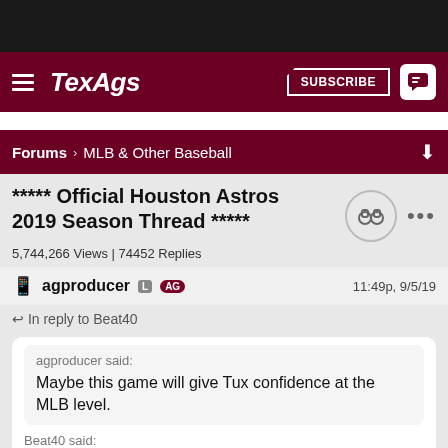TexAgs — SUBSCRIBE
Forums  MLB & Other Baseball
***** Official Houston Astros 2019 Season Thread *****
5,744,266 Views | 74452 Replies
agproducer  L  AG   11:49p, 9/5/19
In reply to Beat40
agproducer said:
Maybe this game will give Tux confidence at the MLB level.
Beat40 said:
Depending on what's up with Reddick, he may get another opportunity tomorrow. Would really like him to get some back to back games in with George being out.